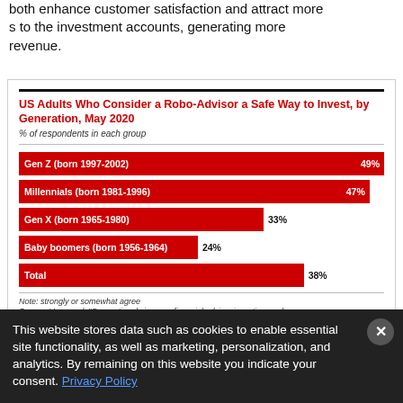both enhance customer satisfaction and attract more s to the investment accounts, generating more revenue.
[Figure (bar-chart): US Adults Who Consider a Robo-Advisor a Safe Way to Invest, by Generation, May 2020]
Note: strongly or somewhat agree
Source: Vanguard, "Generational views on financial advice, investing, and
This website stores data such as cookies to enable essential site functionality, as well as marketing, personalization, and analytics. By remaining on this website you indicate your consent. Privacy Policy